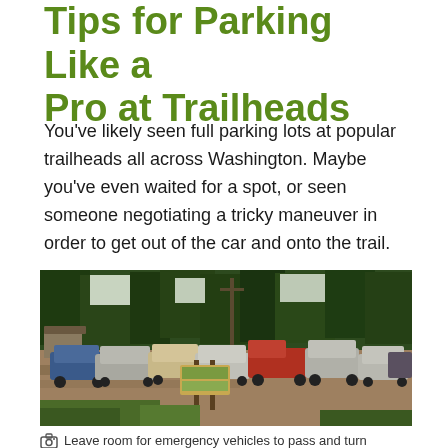Tips for Parking Like a Pro at Trailheads
You've likely seen full parking lots at popular trailheads all across Washington. Maybe you've even waited for a spot, or seen someone negotiating a tricky maneuver in order to get out of the car and onto the trail.
[Figure (photo): A crowded dirt trailhead parking lot surrounded by evergreen forest, with multiple SUVs and trucks parked, a wooden sign post visible in the foreground, and a small structure on the left side.]
Leave room for emergency vehicles to pass and turn around, and